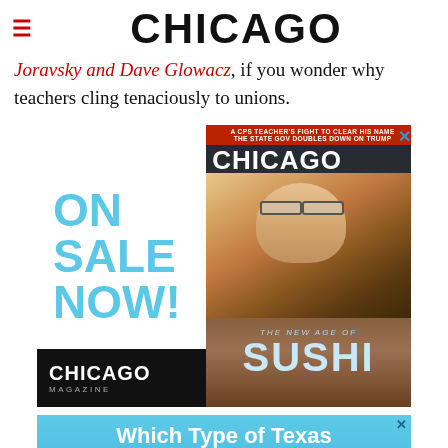CHICAGO
Joravsky and Dave Glowacz, if you wonder why teachers cling tenaciously to unions.
[Figure (other): Advertisement for Chicago Magazine showing a magazine cover with a sushi chef, text reading ON SALE NOW! and THE NEW AGE OF SUSHI, with CHICAGO MAGAZINE logo on black strip at bottom]
[Figure (other): Advertisement banner with light blue background reading: Which Type of Texas Tourist Are You?]